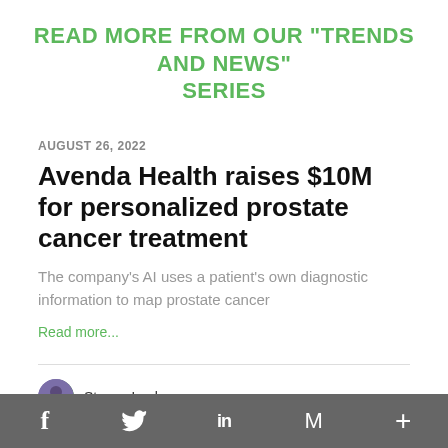READ MORE FROM OUR "TRENDS AND NEWS" SERIES
AUGUST 26, 2022
Avenda Health raises $10M for personalized prostate cancer treatment
The company's AI uses a patient's own diagnostic information to map prostate cancer
Read more...
Steven Loeb
f  Twitter  in  M  +